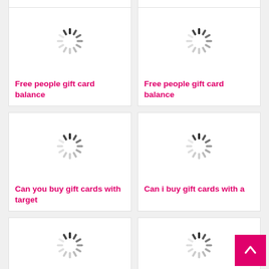[Figure (screenshot): Loading spinner icon for Free people gift card balance card 1]
Free people gift card balance
[Figure (screenshot): Loading spinner icon for Free people gift card balance card 2]
Free people gift card balance
[Figure (screenshot): Loading spinner icon for Can you buy gift cards with target card]
Can you buy gift cards with target
[Figure (screenshot): Loading spinner icon for Can i buy gift cards with a]
Can i buy gift cards with a
[Figure (screenshot): Loading spinner icon bottom left partial]
[Figure (screenshot): Loading spinner icon bottom right partial]